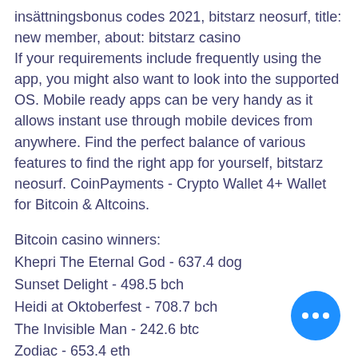insättningsbonus codes 2021, bitstarz neosurf, title: new member, about: bitstarz casino
If your requirements include frequently using the app, you might also want to look into the supported OS. Mobile ready apps can be very handy as it allows instant use through mobile devices from anywhere. Find the perfect balance of various features to find the right app for yourself, bitstarz neosurf. CoinPayments - Crypto Wallet 4+ Wallet for Bitcoin & Altcoins.
Bitcoin casino winners:
Khepri The Eternal God - 637.4 dog
Sunset Delight - 498.5 bch
Heidi at Oktoberfest - 708.7 bch
The Invisible Man - 242.6 btc
Zodiac - 653.4 eth
Royal Wins - 29 bch
Daring Dave - 24.7 ltc
Money Magic - 668.6 eth